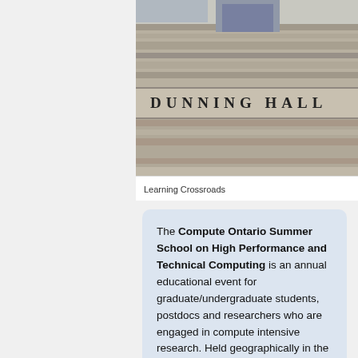[Figure (photo): Photograph of Dunning Hall building exterior with stone facade and the text 'DUNNING HALL' carved into the stone.]
Learning Crossroads
The Compute Ontario Summer School on High Performance and Technical Computing is an annual educational event for graduate/undergraduate students, postdocs and researchers who are engaged in compute intensive research. Held geographically in the west, centre